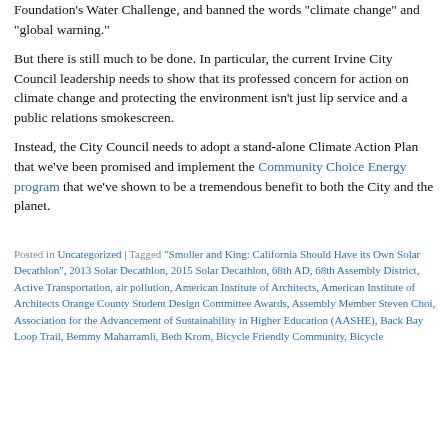Foundation's Water Challenge, and banned the words "climate change" and "global warning."
But there is still much to be done. In particular, the current Irvine City Council leadership needs to show that its professed concern for action on climate change and protecting the environment isn't just lip service and a public relations smokescreen.
Instead, the City Council needs to adopt a stand-alone Climate Action Plan that we've been promised and implement the Community Choice Energy program that we've shown to be a tremendous benefit to both the City and the planet.
Posted in Uncategorized | Tagged "Smoller and King: California Should Have its Own Solar Decathlon", 2013 Solar Decathlon, 2015 Solar Decathlon, 68th AD, 68th Assembly District, Active Transportation, air pollution, American Institute of Architects, American Institute of Architects Orange County Student Design Committee Awards, Assembly Member Steven Choi, Association for the Advancement of Sustainability in Higher Education (AASHE), Back Bay Loop Trail, Bemmy Maharramli, Beth Krom, Bicycle Friendly Community, Bicycle